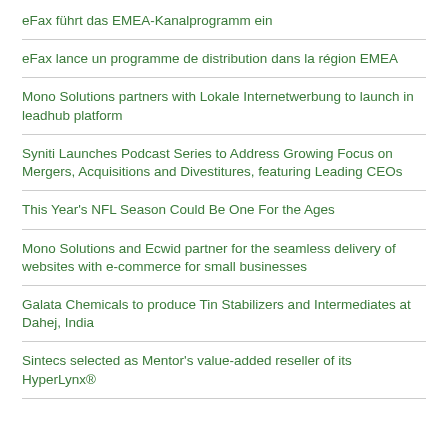eFax führt das EMEA-Kanalprogramm ein
eFax lance un programme de distribution dans la région EMEA
Mono Solutions partners with Lokale Internetwerbung to launch in leadhub platform
Syniti Launches Podcast Series to Address Growing Focus on Mergers, Acquisitions and Divestitures, featuring Leading CEOs
This Year's NFL Season Could Be One For the Ages
Mono Solutions and Ecwid partner for the seamless delivery of websites with e-commerce for small businesses
Galata Chemicals to produce Tin Stabilizers and Intermediates at Dahej, India
Sintecs selected as Mentor's value-added reseller of its HyperLynx®